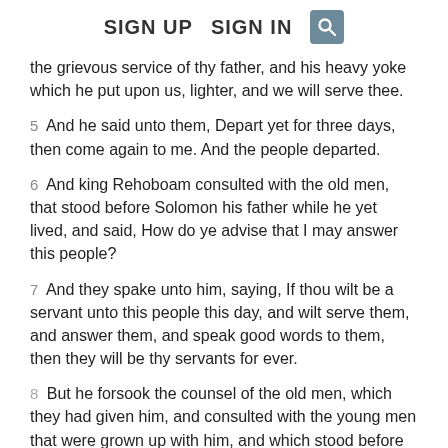SIGN UP   SIGN IN
the grievous service of thy father, and his heavy yoke which he put upon us, lighter, and we will serve thee.
5  And he said unto them, Depart yet for three days, then come again to me. And the people departed.
6  And king Rehoboam consulted with the old men, that stood before Solomon his father while he yet lived, and said, How do ye advise that I may answer this people?
7  And they spake unto him, saying, If thou wilt be a servant unto this people this day, and wilt serve them, and answer them, and speak good words to them, then they will be thy servants for ever.
8  But he forsook the counsel of the old men, which they had given him, and consulted with the young men that were grown up with him, and which stood before him:
9  And he said unto them, What counsel give ye that we may answer this people, who have spoken to me, saying, Make the yoke which thy father did put upon us lighter?
10  And the young men that were grown up with him spake unto him, saying, Thus shalt thou speak unto this people that spake